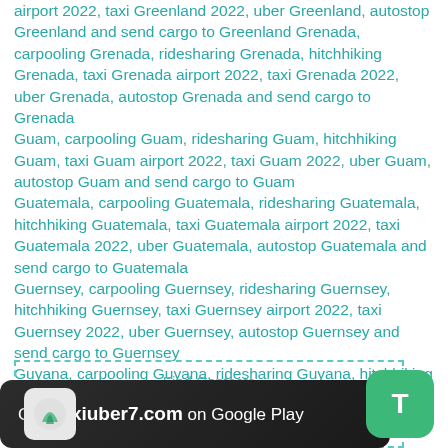airport 2022, taxi Greenland 2022, uber Greenland, autostop Greenland and send cargo to Greenland Grenada, carpooling Grenada, ridesharing Grenada, hitchhiking Grenada, taxi Grenada airport 2022, taxi Grenada 2022, uber Grenada, autostop Grenada and send cargo to Grenada
Guam, carpooling Guam, ridesharing Guam, hitchhiking Guam, taxi Guam airport 2022, taxi Guam 2022, uber Guam, autostop Guam and send cargo to Guam
Guatemala, carpooling Guatemala, ridesharing Guatemala, hitchhiking Guatemala, taxi Guatemala airport 2022, taxi Guatemala 2022, uber Guatemala, autostop Guatemala and send cargo to Guatemala
Guernsey, carpooling Guernsey, ridesharing Guernsey, hitchhiking Guernsey, taxi Guernsey airport 2022, taxi Guernsey 2022, uber Guernsey, autostop Guernsey and send cargo to Guernsey
Guyana, carpooling Guyana, ridesharing Guyana, hitchhiking Guyana, taxi Guyana airport 2022, taxi Guyana 2022, uber Guyana, autostop Guyana and send cargo to Guyana
[Figure (screenshot): App download banner: 'Get Taxiuber7.com on Google Play' with a green T button and a dashed box containing 'Find Contacts' and 'Getcontact premium apk' text]